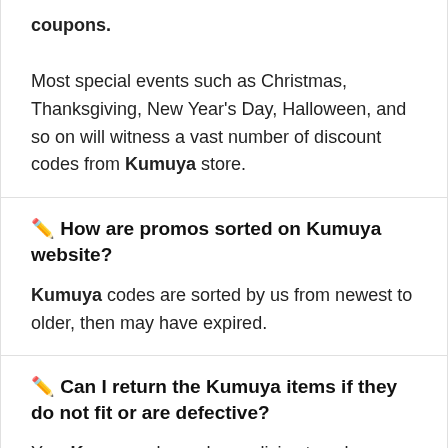coupons. Most special events such as Christmas, Thanksgiving, New Year's Day, Halloween, and so on will witness a vast number of discount codes from Kumuya store.
✏ How are promos sorted on Kumuya website?
Kumuya codes are sorted by us from newest to older, then may have expired.
✏ Can I return the Kumuya items if they do not fit or are defective?
Yes, Kumuya always has policies to solve problems for customers and make you feel comfortable and satisfied with our products or services. If items are defective by our mistake, we will refund you. Please